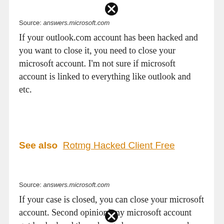[Figure (other): Close/dismiss button (circle with X) at top center]
Source: answers.microsoft.com
If your outlook.com account has been hacked and you want to close it, you need to close your microsoft account. I'm not sure if microsoft account is linked to everything like outlook and etc.
See also  Rotmg Hacked Client Free
Source: answers.microsoft.com
If your case is closed, you can close your microsoft account. Second opinion] my microsoft account got hacked and they changed my username and password.now it says my account doesn't exist and i can't
[Figure (other): Close/dismiss button (circle with X) at bottom center]